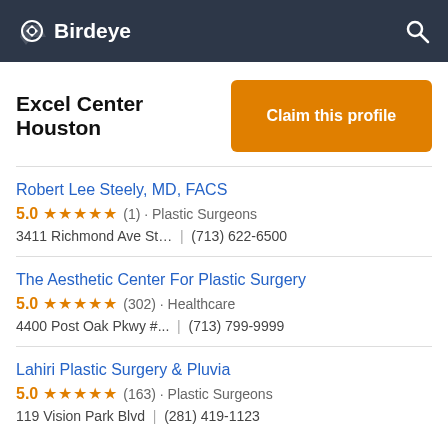Birdeye
Excel Center Houston
Claim this profile
Robert Lee Steely, MD, FACS
5.0 ★★★★★ (1) · Plastic Surgeons
3411 Richmond Ave St… | (713) 622-6500
The Aesthetic Center For Plastic Surgery
5.0 ★★★★★ (302) · Healthcare
4400 Post Oak Pkwy #... | (713) 799-9999
Lahiri Plastic Surgery & Pluvia
5.0 ★★★★★ (163) · Plastic Surgeons
119 Vision Park Blvd | (281) 419-1123